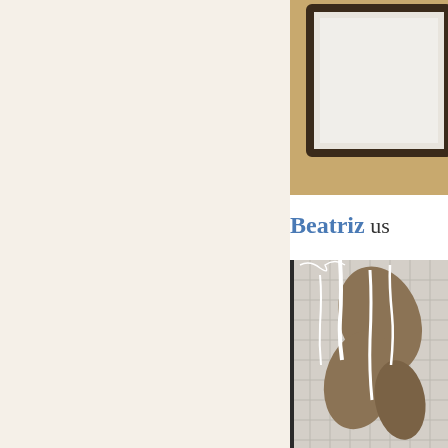[Figure (photo): Partial view of a framed artwork or whiteboard on a wooden surface, cropped at right edge]
Beatriz us
[Figure (photo): Close-up photo of a textile or canvas artwork with brown leaf/floral shapes applied on a burlap-like background with white paint drips]